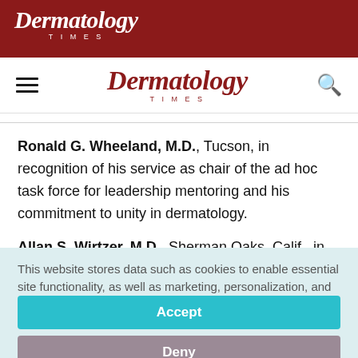Dermatology Times
Dermatology Times (navigation bar with hamburger menu and search icon)
Ronald G. Wheeland, M.D., Tucson, in recognition of his service as chair of the ad hoc task force for leadership mentoring and his commitment to unity in dermatology.
Allan S. Wirtzer, M.D., Sherman Oaks, Calif., in recognition
This website stores data such as cookies to enable essential site functionality, as well as marketing, personalization, and analytics. Cookie Policy
Accept
Deny